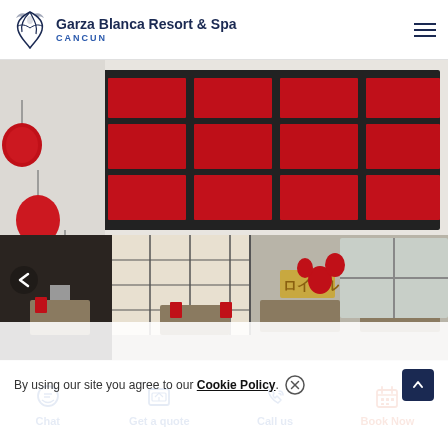Garza Blanca Resort & Spa CANCUN
[Figure (photo): Interior of a restaurant with red lanterns hanging from ceiling panels with red floral inlays, white globe pendant lights, Japanese-style shoji screen wall dividers, and dining tables set with red napkins.]
By using our site you agree to our Cookie Policy.
Chat | Get a quote | Call us | Book Now